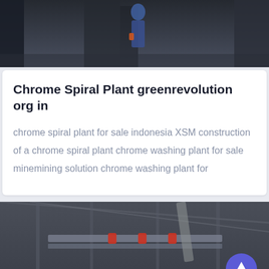[Figure (photo): Industrial machinery scene with a worker in blue uniform and orange gloves operating large equipment in a factory or plant setting]
Chrome Spiral Plant greenrevolution org in
chrome spiral plant for sale indonesia XSM construction of a chrome spiral plant chrome washing plant for sale minemining solution chrome washing plant for
[Figure (photo): Industrial plant interior showing overhead steel structure, conveyor belts, and machinery in a large warehouse/factory building]